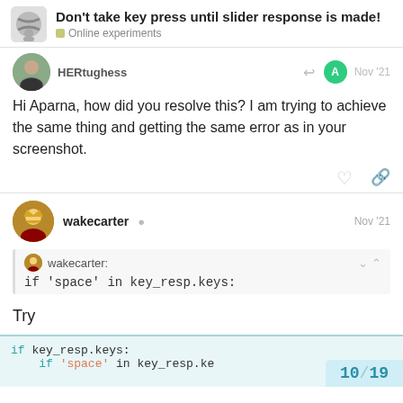Don't take key press until slider response is made! — Online experiments
Hi Aparna, how did you resolve this? I am trying to achieve the same thing and getting the same error as in your screenshot.
wakecarter — Nov '21
wakecarter:
if 'space' in key_resp.keys:
Try
if key_resp.keys:
    if 'space' in key_resp.ke
10 / 19